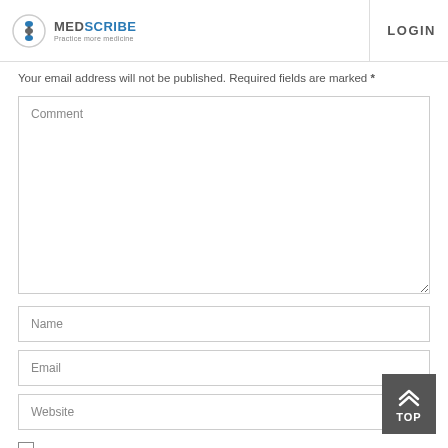MEDSCRIBE — Practice more medicine | LOGIN
Your email address will not be published. Required fields are marked *
[Figure (screenshot): Comment textarea input field placeholder]
[Figure (screenshot): Name input field placeholder]
[Figure (screenshot): Email input field placeholder]
[Figure (screenshot): Website input field placeholder]
[Figure (screenshot): Checkbox (unchecked)]
[Figure (screenshot): TOP scroll-to-top button with double chevron arrows]